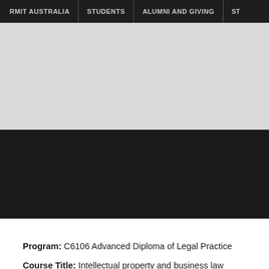RMIT AUSTRALIA | STUDENTS | ALUMNI AND GIVING | ST
[Figure (other): Light grey banner area (website header image placeholder)]
[Figure (other): Dark black banner area (website hero image placeholder)]
Program: C6106 Advanced Diploma of Legal Practice
Course Title: Intellectual property and business law